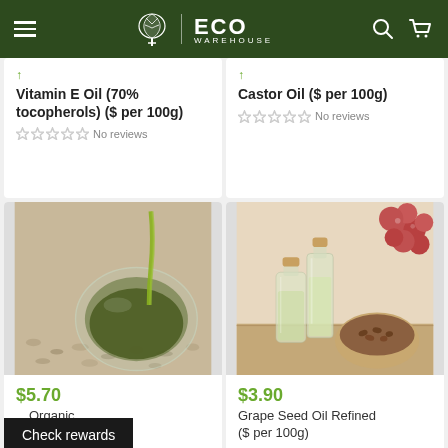ECO WAREHOUSE
Vitamin E Oil (70% tocopherols) ($ per 100g) — No reviews
Castor Oil ($ per 100g) — No reviews
[Figure (photo): Hemp seed oil being poured into a bowl, surrounded by hemp seeds]
$5.70 — Organic ($ per)
[Figure (photo): Grape seed oil in glass bottles with cork stoppers, bowl of grape seeds, and bunch of red grapes]
$3.90 — Grape Seed Oil Refined ($ per 100g)